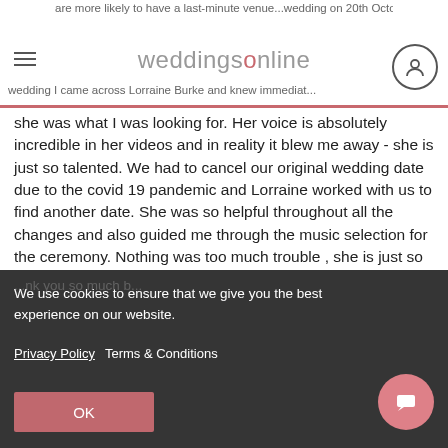weddingsonline
she was what I was looking for. Her voice is absolutely incredible in her videos and in reality it blew me away - she is just so talented. We had to cancel our original wedding date due to the covid 19 pandemic and Lorraine worked with us to find another date. She was so helpful throughout all the changes and also guided me through the music selection for the ceremony. Nothing was too much trouble , she is just so lovely to deal with. I felt she really cared about making sure everything was right for us and she was always on hand to answer my questions or give advice and suggestions. Lorraine's voice lit up the church during the ceremony and it made the ceremony so special for us. All the guests commented on how spectacular she was and how much they really enjoyed it. If you are thinking of booking Lorraine just go ahead and do it! She will bring something very special to
We use cookies to ensure that we give you the best experience on our website.
Privacy Policy   Terms & Conditions